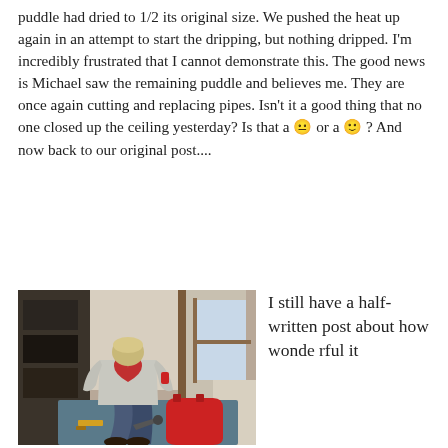puddle had dried to 1/2 its original size. We pushed the heat up again in an attempt to start the dripping, but nothing dripped. I'm incredibly frustrated that I cannot demonstrate this. The good news is Michael saw the remaining puddle and believes me. They are once again cutting and replacing pipes. Isn't it a good thing that no one closed up the ceiling yesterday? Is that a 😐 or a 🙂 ? And now back to our original post....
[Figure (photo): A person kneeling on a blue mat on a hardwood floor, seen from behind, wearing a light gray sweatshirt with a large red heart on the back. Tools and a red bag are visible beside them. The scene appears to be indoors near a doorway.]
I still have a half-written post about how wonderful it